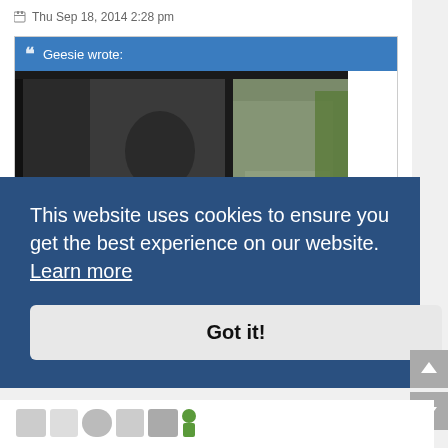Thu Sep 18, 2014 2:28 pm
Geesie wrote:
[Figure (photo): Person sitting in the driver seat of a car viewed from outside the open window, holding the steering wheel. A road with another car is visible through the windshield.]
This website uses cookies to ensure you get the best experience on our website. Learn more
Got it!